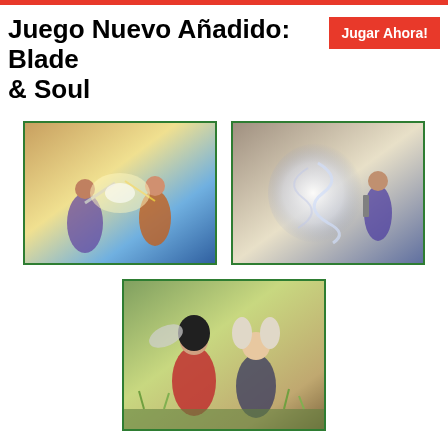Juego Nuevo Añadido: Blade & Soul
[Figure (screenshot): Blade & Soul game screenshot showing combat scene with characters fighting with swords and magical effects]
[Figure (screenshot): Blade & Soul game screenshot showing a warrior character with swirling energy effects]
[Figure (screenshot): Blade & Soul game screenshot showing two anime-style character models, one dark-haired and one light-haired with ears]
Avenge your massacred brothers and sisters in the game's epic story of war and betrayal